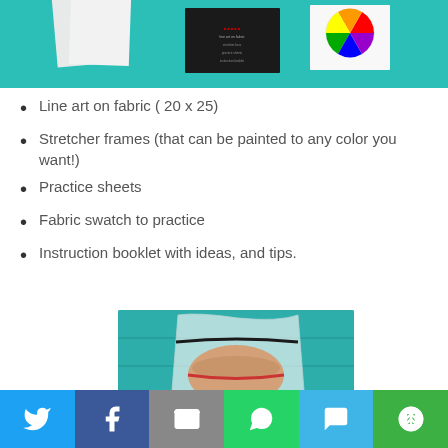[Figure (photo): Top portion of a photo showing craft supplies on a teal background, including white paper/fabric sheets, a dark card with text, and a color wheel card]
Line art on fabric ( 20 x 25)
Stretcher frames (that can be painted to any color you want!)
Practice sheets
Fabric swatch to practice
Instruction booklet with ideas, and tips.
[Figure (photo): Photo of craft kit contents in a clear plastic ziplock bag against a teal painted wood background. A rolled fabric piece and booklet with text visible through the bag.]
Twitter | Facebook | Email | WhatsApp | SMS | More